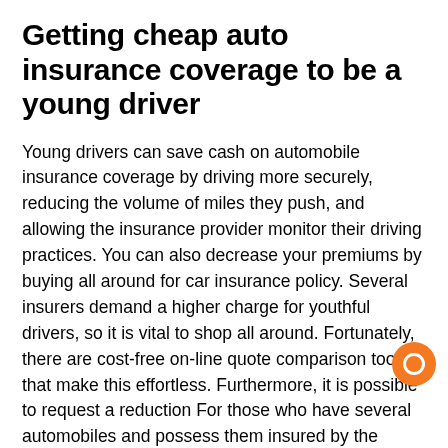Getting cheap auto insurance coverage to be a young driver
Young drivers can save cash on automobile insurance coverage by driving more securely, reducing the volume of miles they push, and allowing the insurance provider monitor their driving practices. You can also decrease your premiums by buying all around for car insurance policy. Several insurers demand a higher charge for youthful drivers, so it is vital to shop all around. Fortunately, there are cost-free on-line quote comparison tools that make this effortless. Furthermore, it is possible to request a reduction For those who have several automobiles and possess them insured by the identical enterprise.
When seeking a plan, You should definitely Assess multiple offers and pick the finest value and good quality. It's also possible to search for an insurance plan agent who'll make along with you, enabling you to help make changes as your